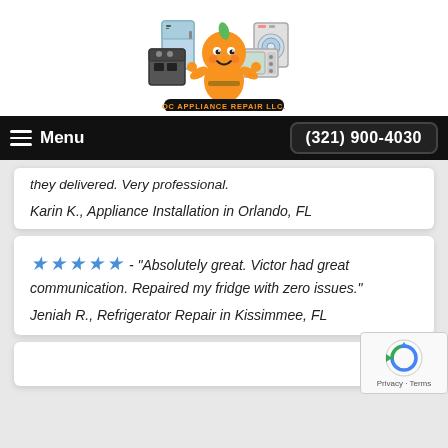[Figure (logo): OC Appliance Repair LLC logo with cartoon orange mascot and appliances]
Menu | (321) 900-4030
they delivered. Very professional.
Karin K., Appliance Installation in Orlando, FL
★★★★★ - "Absolutely great. Victor had great communication. Repaired my fridge with zero issues."
Jeniah R., Refrigerator Repair in Kissimmee, FL